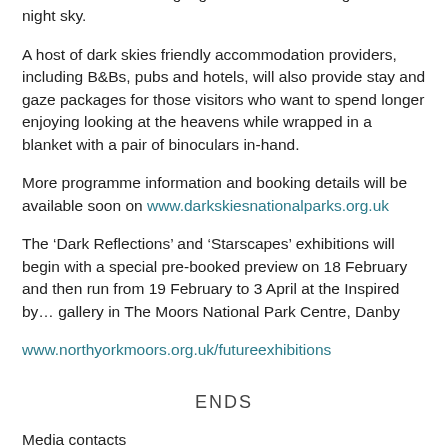pristine dark skies, through to daytime fun activities including rocket building and planet trails, as well as expert talks aimed at fostering a greater understanding of the night sky.
A host of dark skies friendly accommodation providers, including B&Bs, pubs and hotels, will also provide stay and gaze packages for those visitors who want to spend longer enjoying looking at the heavens while wrapped in a blanket with a pair of binoculars in-hand.
More programme information and booking details will be available soon on www.darkskiesnationalparks.org.uk
The ‘Dark Reflections’ and ‘Starscapes’ exhibitions will begin with a special pre-booked preview on 18 February and then run from 19 February to 3 April at the Inspired by… gallery in The Moors National Park Centre, Danby
www.northyorkmoors.org.uk/futureexhibitions
ENDS
Media contacts